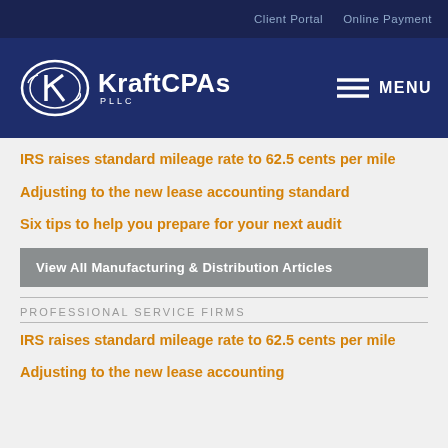Client Portal   Online Payment
[Figure (logo): KraftCPAs PLLC logo with oval K emblem and MENU hamburger button]
IRS raises standard mileage rate to 62.5 cents per mile
Adjusting to the new lease accounting standard
Six tips to help you prepare for your next audit
View All Manufacturing & Distribution Articles
PROFESSIONAL SERVICE FIRMS
IRS raises standard mileage rate to 62.5 cents per mile
Adjusting to the new lease accounting